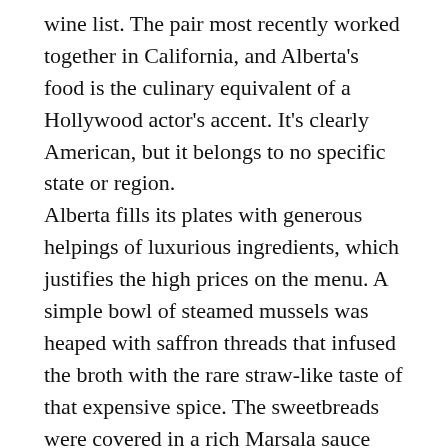wine list. The pair most recently worked together in California, and Alberta's food is the culinary equivalent of a Hollywood actor's accent. It's clearly American, but it belongs to no specific state or region. Alberta fills its plates with generous helpings of luxurious ingredients, which justifies the high prices on the menu. A simple bowl of steamed mussels was heaped with saffron threads that infused the broth with the rare straw-like taste of that expensive spice. The sweetbreads were covered in a rich Marsala sauce with a halo of pale green basil oil around the edges. Few restaurants roast a chicken as well as